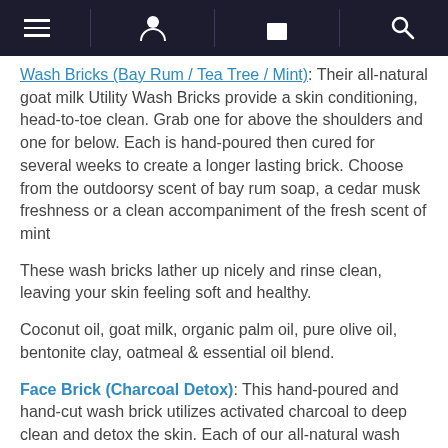[nav bar with hamburger menu, user icon, bag icon, search icon]
Wash Bricks (Bay Rum / Tea Tree / Mint): Their all-natural goat milk Utility Wash Bricks provide a skin conditioning, head-to-toe clean. Grab one for above the shoulders and one for below. Each is hand-poured then cured for several weeks to create a longer lasting brick. Choose from the outdoorsy scent of bay rum soap, a cedar musk freshness or a clean accompaniment of the fresh scent of mint
These wash bricks lather up nicely and rinse clean, leaving your skin feeling soft and healthy.
Coconut oil, goat milk, organic palm oil, pure olive oil, bentonite clay, oatmeal & essential oil blend.
Face Brick (Charcoal Detox): This hand-poured and hand-cut wash brick utilizes activated charcoal to deep clean and detox the skin. Each of our all-natural wash bricks goes through a lengthy curing process that creates a longer lasting, better performing product.